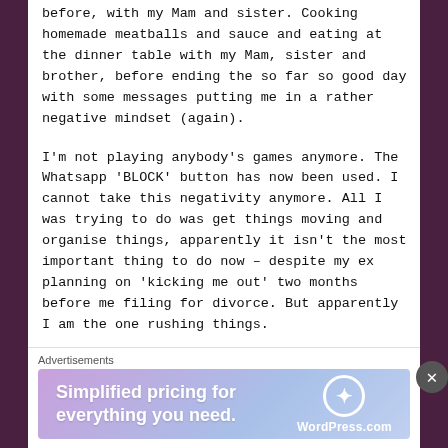before, with my Mam and sister. Cooking homemade meatballs and sauce and eating at the dinner table with my Mam, sister and brother, before ending the so far so good day with some messages putting me in a rather negative mindset (again).
I'm not playing anybody's games anymore. The Whatsapp 'BLOCK' button has now been used. I cannot take this negativity anymore. All I was trying to do was get things moving and organise things, apparently it isn't the most important thing to do now – despite my ex planning on 'kicking me out' two months before me filing for divorce. But apparently I am the one rushing things.
I just want this all over. I want to be free and out of someone else's control.
Advertisements
[Figure (infographic): WordPress.com advertisement banner: 'Simplified pricing for everything you need.' with WordPress.com logo on a purple-blue gradient background.]